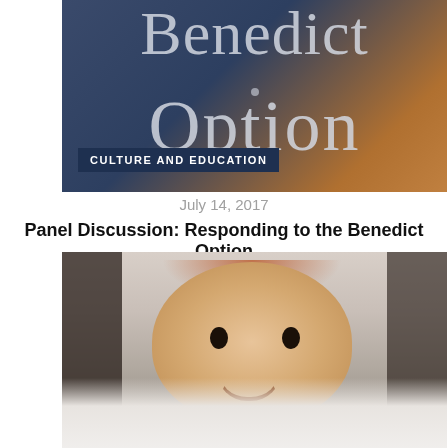[Figure (photo): Book cover for 'Benedict Option' with dark blue and warm orange gradient background, large serif text reading 'Benedict' and 'Option', with a 'CULTURE AND EDUCATION' category badge in dark navy at bottom left]
July 14, 2017
Panel Discussion: Responding to the Benedict Option
[Figure (photo): Close-up photo of a smiling baby with reddish hair, lying on a white surface, looking directly at the camera with a wide open-mouth smile]